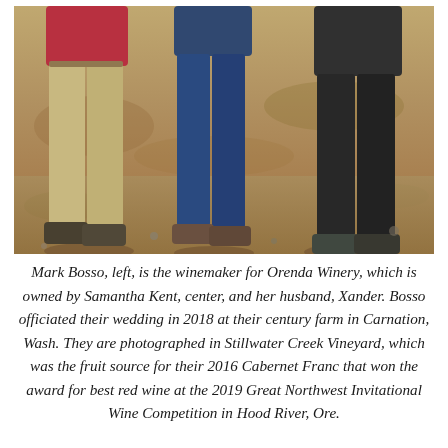[Figure (photo): Three people standing outdoors on a dirt/sandy ground at a vineyard. The person on the left wears a red/burgundy shirt and tan khaki pants. The person in the center wears a blue top and blue jeans. The person on the right wears dark clothing. Their feet and lower bodies are visible; heads are cropped out of frame.]
Mark Bosso, left, is the winemaker for Orenda Winery, which is owned by Samantha Kent, center, and her husband, Xander. Bosso officiated their wedding in 2018 at their century farm in Carnation, Wash. They are photographed in Stillwater Creek Vineyard, which was the fruit source for their 2016 Cabernet Franc that won the award for best red wine at the 2019 Great Northwest Invitational Wine Competition in Hood River, Ore.